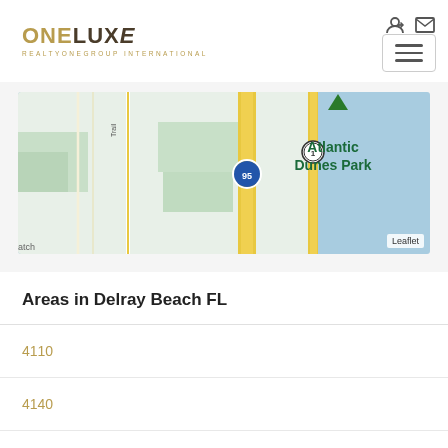[Figure (logo): ONELUXE Realty One Group International logo with gold and dark brown text]
[Figure (map): Street map showing Atlantic Dunes Park area in Delray Beach FL, with highways I-95 and US-1, green park areas, and blue ocean/water on the right side. Shows partial text 'atch' at bottom left.]
Areas in Delray Beach FL
4110
4140
4220